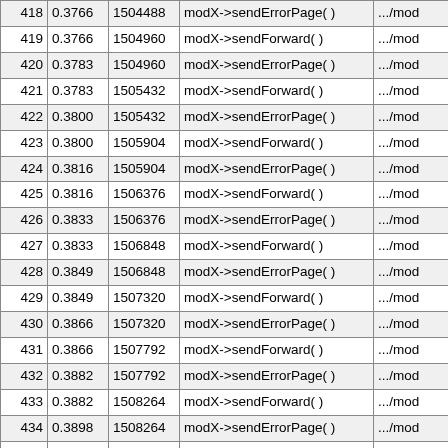|  |  |  |  |  |
| --- | --- | --- | --- | --- |
| 418 | 0.3766 | 1504488 | modX->sendErrorPage( ) | .../mod |
| 419 | 0.3766 | 1504960 | modX->sendForward( ) | .../mod |
| 420 | 0.3783 | 1504960 | modX->sendErrorPage( ) | .../mod |
| 421 | 0.3783 | 1505432 | modX->sendForward( ) | .../mod |
| 422 | 0.3800 | 1505432 | modX->sendErrorPage( ) | .../mod |
| 423 | 0.3800 | 1505904 | modX->sendForward( ) | .../mod |
| 424 | 0.3816 | 1505904 | modX->sendErrorPage( ) | .../mod |
| 425 | 0.3816 | 1506376 | modX->sendForward( ) | .../mod |
| 426 | 0.3833 | 1506376 | modX->sendErrorPage( ) | .../mod |
| 427 | 0.3833 | 1506848 | modX->sendForward( ) | .../mod |
| 428 | 0.3849 | 1506848 | modX->sendErrorPage( ) | .../mod |
| 429 | 0.3849 | 1507320 | modX->sendForward( ) | .../mod |
| 430 | 0.3866 | 1507320 | modX->sendErrorPage( ) | .../mod |
| 431 | 0.3866 | 1507792 | modX->sendForward( ) | .../mod |
| 432 | 0.3882 | 1507792 | modX->sendErrorPage( ) | .../mod |
| 433 | 0.3882 | 1508264 | modX->sendForward( ) | .../mod |
| 434 | 0.3898 | 1508264 | modX->sendErrorPage( ) | .../mod |
| 435 | 0.3898 | 1508736 | modX->sendForward( ) | .../mod |
| 436 | 0.3915 | 1508736 | modX->sendErrorPage( ) | .../mod |
| 437 | 0.3915 | 1509208 | modX->sendForward( ) | .../mod |
| 438 | 0.3931 | 1509208 | modX->sendErrorPage( ) | .../mod |